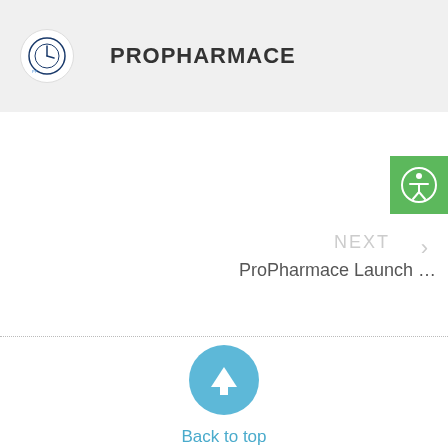PROPHARMACE
[Figure (logo): ProPharmace circular logo with clock/timer icon]
[Figure (illustration): Green accessibility icon button (person in circle)]
NEXT
ProPharmace Launch …
[Figure (illustration): Blue circle with white upward arrow (back to top button)]
Back to top